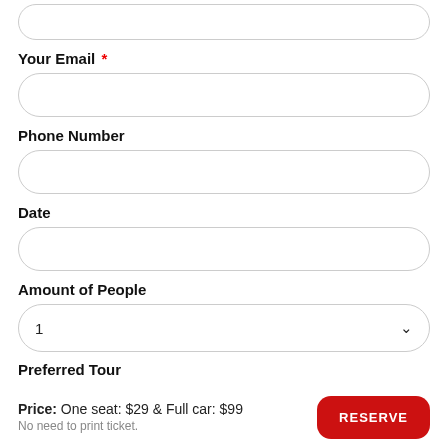[input field stub at top]
Your Email *
[email input field]
Phone Number
[phone number input field]
Date
[date input field]
Amount of People
1 (dropdown)
Preferred Tour (partial, clipped)
Price: One seat: $29 & Full car: $99
No need to print ticket.
RESERVE